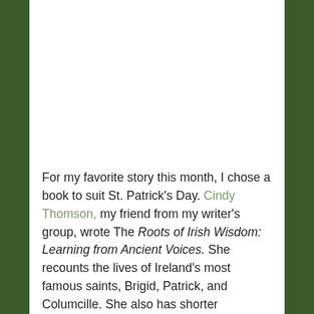For my favorite story this month, I chose a book to suit St. Patrick's Day. Cindy Thomson, my friend from my writer's group, wrote The Roots of Irish Wisdom: Learning from Ancient Voices. She recounts the lives of Ireland's most famous saints, Brigid, Patrick, and Columcille. She also has shorter